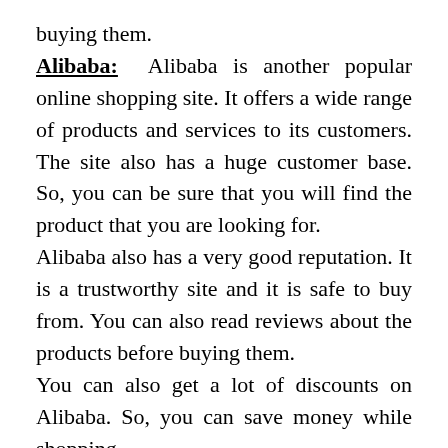buying them.
Alibaba: Alibaba is another popular online shopping site. It offers a wide range of products and services to its customers. The site also has a huge customer base. So, you can be sure that you will find the product that you are looking for.
Alibaba also has a very good reputation. It is a trustworthy site and it is safe to buy from. You can also read reviews about the products before buying them.
You can also get a lot of discounts on Alibaba. So, you can save money while shopping.
eBay: eBay is another popular online shopping site. It offers a wide range of products and services to its customers. The site also has a huge